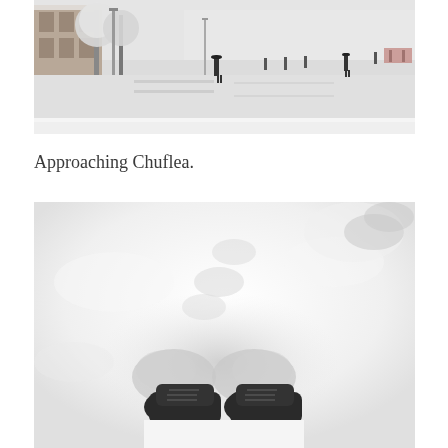[Figure (photo): Snowy city street scene with pedestrians walking through heavy snow. Buildings and snow-covered trees visible on the left, people crossing the road in the background. Black and white/desaturated winter photograph.]
Approaching Chuflea.
[Figure (photo): Close-up view looking down at a person's feet/boots sinking into deep snow. The snow is bright white and the boots are dark/black. Footprints visible in the snow around the feet. Black and white photograph.]